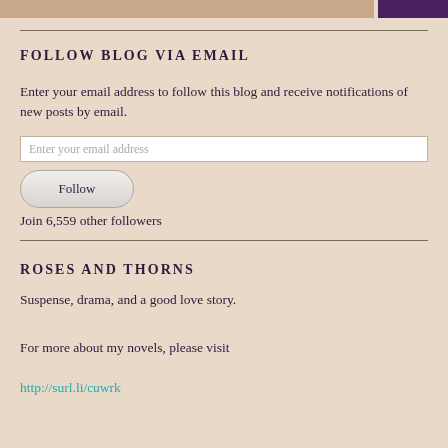FOLLOW BLOG VIA EMAIL
Enter your email address to follow this blog and receive notifications of new posts by email.
Enter your email address
Follow
Join 6,559 other followers
ROSES AND THORNS
Suspense, drama, and a good love story.
For more about my novels, please visit
http://surl.li/cuwrk